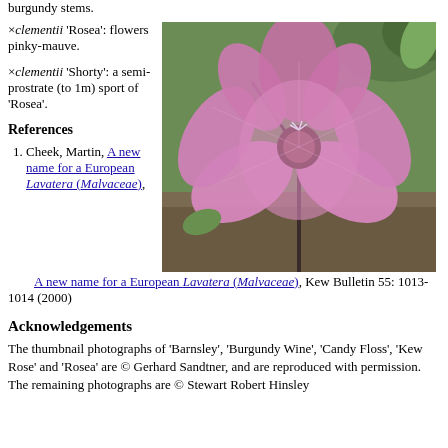burgundy stems.
×clementii 'Rosea': flowers pinky-mauve.
×clementii 'Shorty': a semi-prostrate (to 1m) sport of 'Rosea'.
[Figure (photo): Close-up photograph of a large pink-mauve flower (Lavatera ×clementii 'Rosea') with green foliage and dark stems in background.]
References
Cheek, Martin, A new name for a European Lavatera (Malvaceae), Kew Bulletin 55: 1013-1014 (2000)
Acknowledgements
The thumbnail photographs of 'Barnsley', 'Burgundy Wine', 'Candy Floss', 'Kew Rose' and 'Rosea' are © Gerhard Sandtner, and are reproduced with permission. The remaining photographs are © Stewart Robert Hinsley